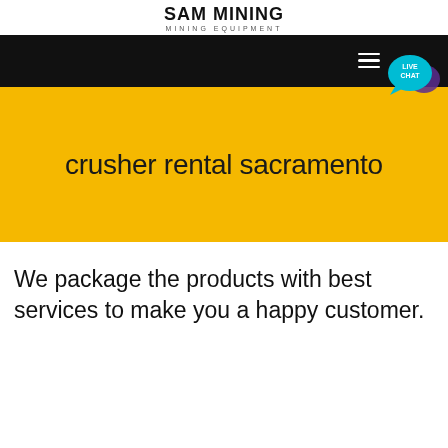SAM Mining
MINING EQUIPMENT
[Figure (screenshot): Black navigation bar with hamburger menu lines and a live chat button (teal speech bubble with 'LIVE CHAT' text and a purple speech bubble behind it)]
crusher rental sacramento
We package the products with best services to make you a happy customer.